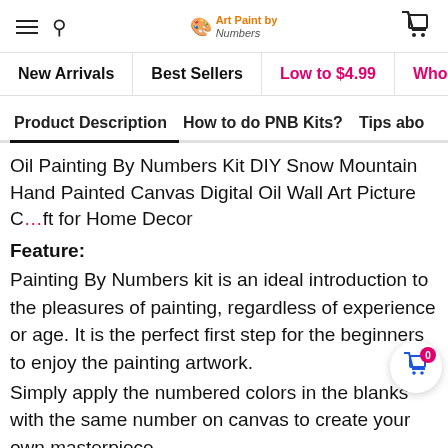Navigation header with hamburger menu, search icon, Art Paint by Numbers logo, and cart icon
New Arrivals | Best Sellers | Low to $4.99 | Whol...
Product Description | How to do PNB Kits? | Tips abo...
Oil Painting By Numbers Kit DIY Snow Mountain Hand Painted Canvas Digital Oil Wall Art Picture C... for Home Decor
Feature:
Painting By Numbers kit is an ideal introduction to the pleasures of painting, regardless of experience or age. It is the perfect first step for the beginners to enjoy the painting artwork.
Simply apply the numbered colors in the blanks with the same number on canvas to create your own masterpiece.